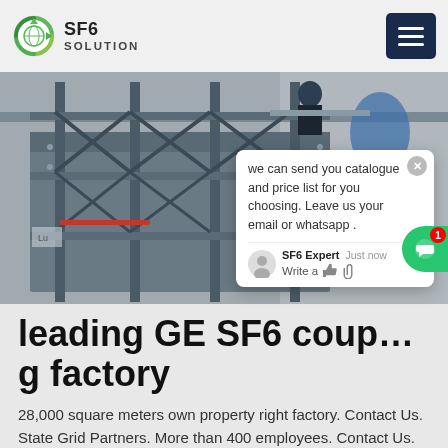SF6 SOLUTION
[Figure (photo): Industrial scaffolding and equipment with a worker visible at the top, dark metallic blue-grey tones, outdoor industrial setting]
we can send you catalogue and price list for you choosing. Leave us your email or whatsapp .
leading GE SF6 coupling factory
28,000 square meters own property right factory. Contact Us. State Grid Partners. More than 400 employees. Contact Us. About Us. Welcome To SF6 Gas Technology Co.,Ltd. SF6 Experts. SF6 gas experts are committed to reusing SF6. Reduce...